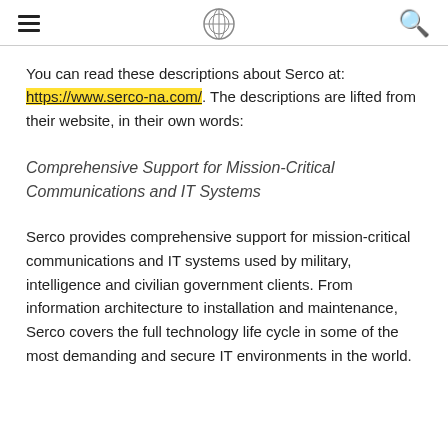≡  [logo]  🔍
You can read these descriptions about Serco at: https://www.serco-na.com/. The descriptions are lifted from their website, in their own words:
Comprehensive Support for Mission-Critical Communications and IT Systems
Serco provides comprehensive support for mission-critical communications and IT systems used by military, intelligence and civilian government clients. From information architecture to installation and maintenance, Serco covers the full technology life cycle in some of the most demanding and secure IT environments in the world.